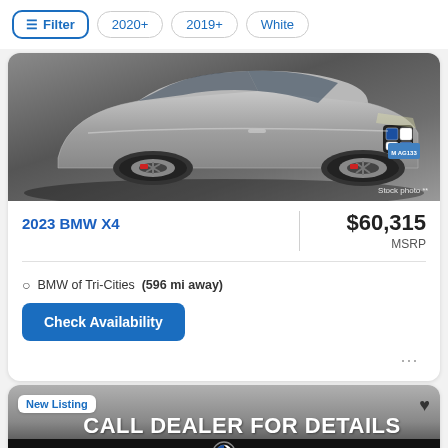Filter  2020+  2019+  White
[Figure (photo): Silver BMW X4 SUV side/front angle view on a dark pavement surface, showing black alloy wheels with red brake calipers and a blue/white BMW badge. License plate reads M AG1336. Stock photo watermark visible in bottom right.]
2023 BMW X4
$60,315 MSRP
BMW of Tri-Cities (596 mi away)
Check Availability
New Listing
CALL DEALER FOR DETAILS